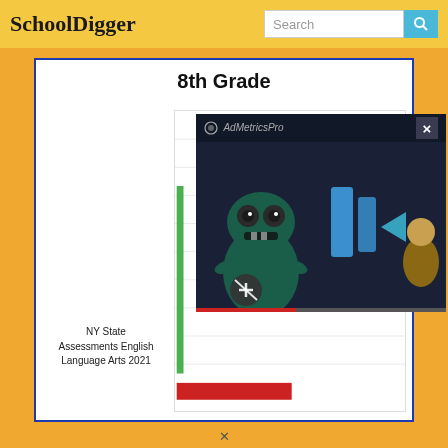SchoolDigger
8th Grade
NY State Assessments English Language Arts 2021
[Figure (screenshot): AdMetricsPro video advertisement overlay showing an animated monster character with play button icons and mute button, with a close X button in the top right corner]